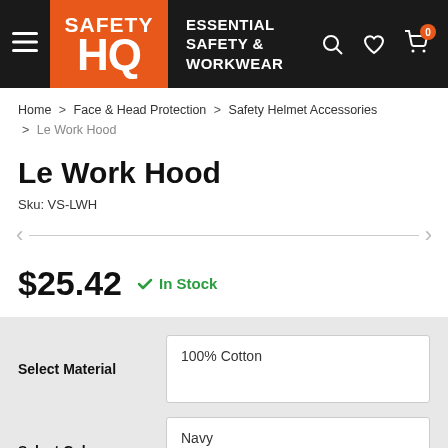SAFETY HQ — ESSENTIAL SAFETY & WORKWEAR
Home > Face & Head Protection > Safety Helmet Accessories > Le Work Hood
Le Work Hood
Sku: VS-LWH
$25.42  ✓ In Stock
Select Material: 100% Cotton
Select Colour: Navy